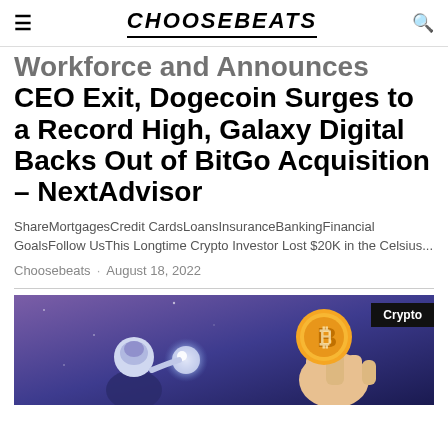CHOOSEBEATS
Workforce and Announces CEO Exit, Dogecoin Surges to a Record High, Galaxy Digital Backs Out of BitGo Acquisition – NextAdvisor
ShareMortgagesCredit CardsLoansInsuranceBankingFinancial GoalsFollow UsThis Longtime Crypto Investor Lost $20K in the Celsius...
Choosebeats · August 18, 2022
[Figure (illustration): Illustrated image showing a superhero-style figure holding a glowing orb facing a hand holding a Bitcoin coin, with a purple/blue background. A 'Crypto' label badge overlays the top-right.]